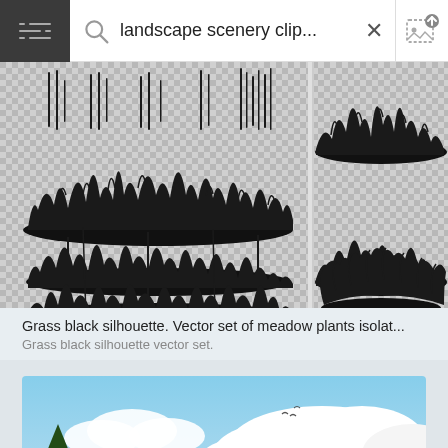landscape scenery clip...
[Figure (illustration): Grass black silhouette vector set of meadow plants on transparent checkered background, showing multiple grass strip silhouettes in black]
Grass black silhouette. Vector set of meadow plants isolat...
Grass black silhouette vector set.
[Figure (illustration): Landscape scenery clipart showing blue sky with white fluffy clouds and a small dark tree silhouette at the bottom left, with birds in the sky]